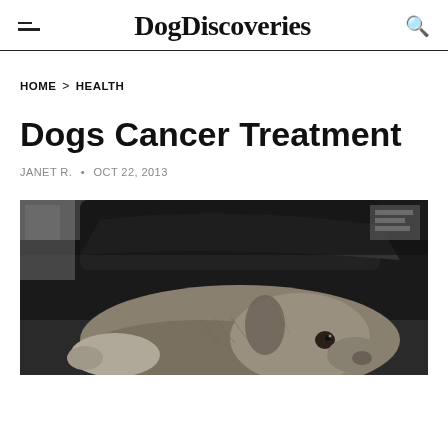DogDiscoveries
HOME > HEALTH
Dogs Cancer Treatment
JANET R. • OCT 22, 2013
[Figure (photo): A dog lying on its back on a couch, looking upward, black and white/grayscale photo]